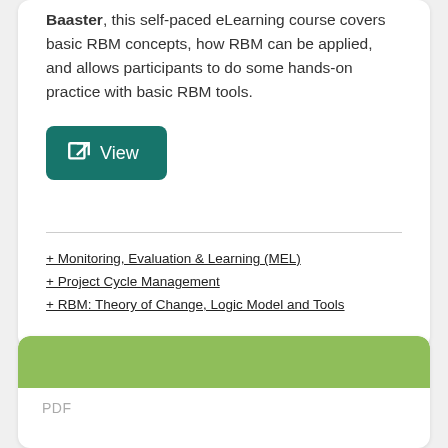Baaster, this self-paced eLearning course covers basic RBM concepts, how RBM can be applied, and allows participants to do some hands-on practice with basic RBM tools.
[Figure (other): Teal/dark green button with external link icon and text 'View']
+ Monitoring, Evaluation & Learning (MEL)
+ Project Cycle Management
+ RBM: Theory of Change, Logic Model and Tools
PDF